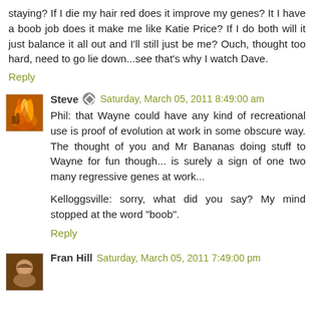staying? If I die my hair red does it improve my genes? It I have a boob job does it make me like Katie Price? If I do both will it just balance it all out and I'll still just be me? Ouch, thought too hard, need to go lie down...see that's why I watch Dave.
Reply
Steve   Saturday, March 05, 2011 8:49:00 am
Phil: that Wayne could have any kind of recreational use is proof of evolution at work in some obscure way. The thought of you and Mr Bananas doing stuff to Wayne for fun though... is surely a sign of one two many regressive genes at work...

Kelloggsville: sorry, what did you say? My mind stopped at the word "boob".
Reply
Fran Hill   Saturday, March 05, 2011 7:49:00 pm